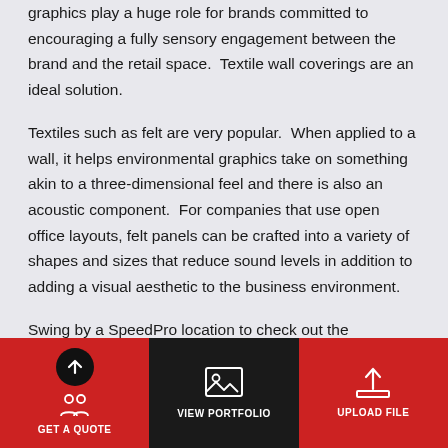graphics play a huge role for brands committed to encouraging a fully sensory engagement between the brand and the retail space.  Textile wall coverings are an ideal solution.
Textiles such as felt are very popular.  When applied to a wall, it helps environmental graphics take on something akin to a three-dimensional feel and there is also an acoustic component.  For companies that use open office layouts, felt panels can be crafted into a variety of shapes and sizes that reduce sound levels in addition to adding a visual aesthetic to the business environment.
Swing by a SpeedPro location to check out the
GET A QUOTE  VIEW PORTFOLIO  UPLOAD FILE